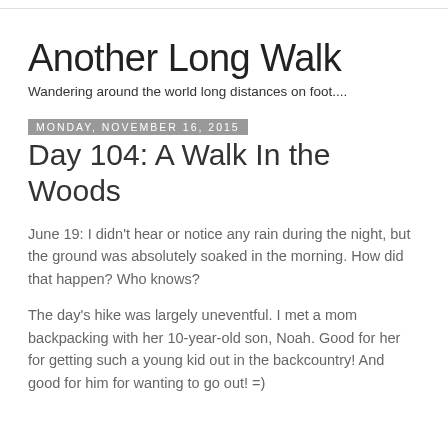Another Long Walk
Wandering around the world long distances on foot....
Monday, November 16, 2015
Day 104: A Walk In the Woods
June 19: I didn't hear or notice any rain during the night, but the ground was absolutely soaked in the morning. How did that happen? Who knows?
The day's hike was largely uneventful. I met a mom backpacking with her 10-year-old son, Noah. Good for her for getting such a young kid out in the backcountry! And good for him for wanting to go out! =)